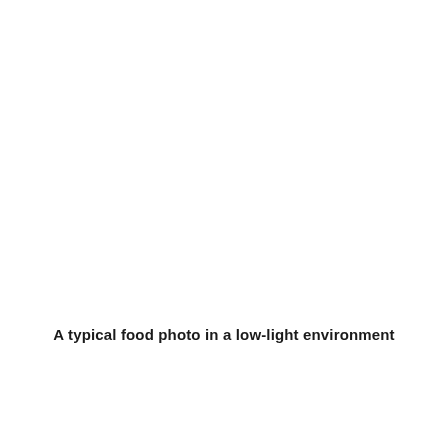A typical food photo in a low-light environment